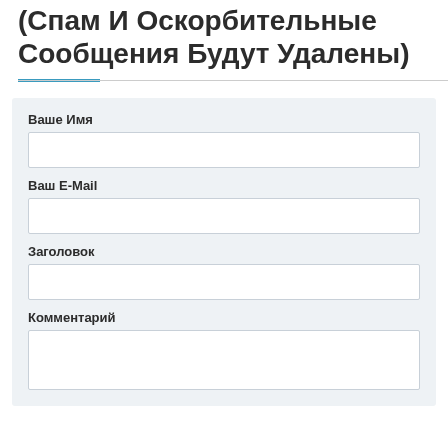(Спам И Оскорбительные Сообщения Будут Удалены)
Ваше Имя
Ваш E-Mail
Заголовок
Комментарий